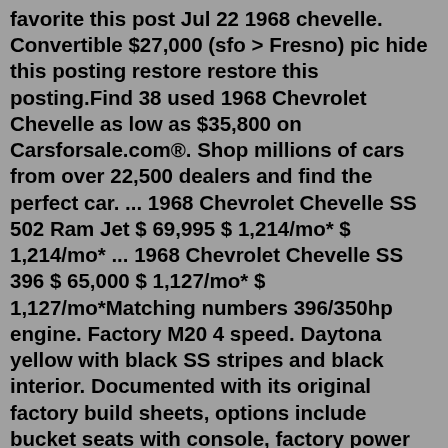favorite this post Jul 22 1968 chevelle. Convertible $27,000 (sfo > Fresno) pic hide this posting restore restore this posting.Find 38 used 1968 Chevrolet Chevelle as low as $35,800 on Carsforsale.com®. Shop millions of cars from over 22,500 dealers and find the perfect car. ... 1968 Chevrolet Chevelle SS 502 Ram Jet $ 69,995 $ 1,214/mo* $ 1,214/mo* ... 1968 Chevrolet Chevelle SS 396 $ 65,000 $ 1,127/mo* $ 1,127/mo*Matching numbers 396/350hp engine. Factory M20 4 speed. Daytona yellow with black SS stripes and black interior. Documented with its original factory build sheets, options include bucket seats with console, factory power steering and power brakes, cowl induction hood, 12 bolt posi-traction with 3.31 gears, F41 performance suspension including ...With 58 percent of its weight over the front axle, a Malibu SS 396 floundered through corners, but its mid-14-second quarter-mile times at around 100 mph were very strong for 1965. Super Sport Production peaked this year, accounting for 101,577 of the 326,977 Chevelles built. No...